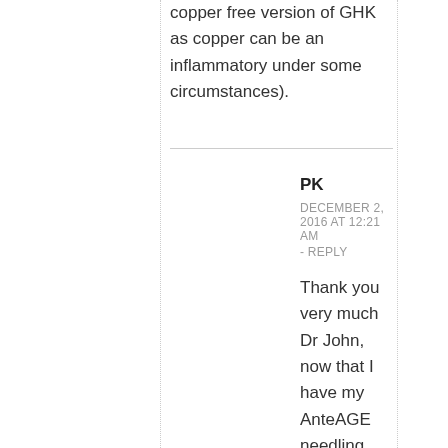copper free version of GHK as copper can be an inflammatory under some circumstances).
PK
DECEMBER 2, 2016 AT 12:21 AM - REPLY
Thank you very much Dr John, now that I have my AnteAGE needling solutions and the two serums I would like to get it absolutely right. I am planing to use the derminator derma stamp device with 0.5 mm on my forehead, 1.5mm on my cheeks since I have scarring on my cheeks,